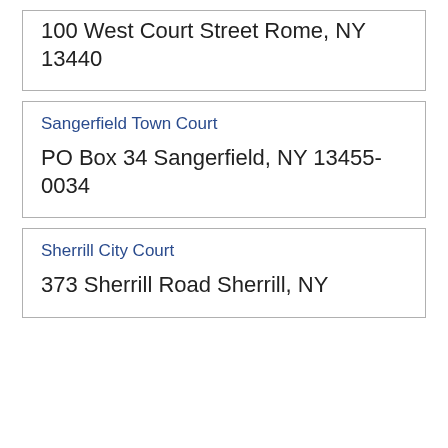100 West Court Street Rome, NY 13440
Sangerfield Town Court
PO Box 34 Sangerfield, NY 13455-0034
Sherrill City Court
373 Sherrill Road Sherrill, NY